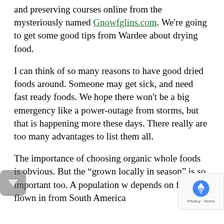and preserving courses online from the mysteriously named Gnowfglins.com. We're going to get some good tips from Wardee about drying food.
I can think of so many reasons to have good dried foods around. Someone may get sick, and need fast ready foods. We hope there won't be a big emergency like a power-outage from storms, but that is happening more these days. There really are too many advantages to list them all.
The importance of choosing organic whole foods is obvious. But the “grown locally in season” is so important too. A population w depends on fruit flown in from South America